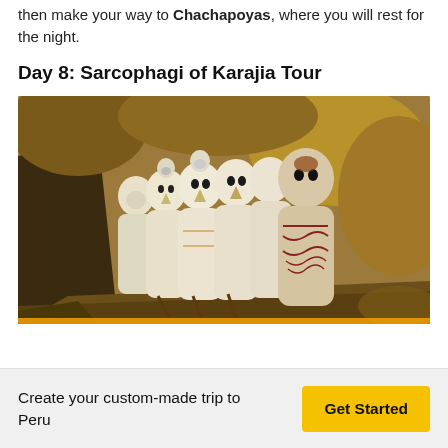then make your way to Chachapoyas, where you will rest for the night.
Day 8: Sarcophagi of Karajia Tour
[Figure (photo): Photo of the Sarcophagi of Karajia — tall ancient white funerary figures with painted faces and decorative patterns, set against a rocky cliff face with skulls on top.]
Create your custom-made trip to Peru
Get Started